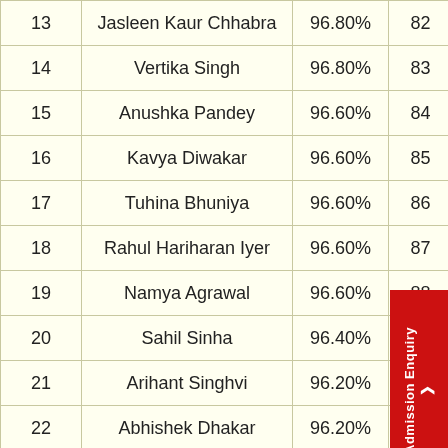| Rank | Name | Percentage | No. |  |
| --- | --- | --- | --- | --- |
| 13 | Jasleen Kaur Chhabra | 96.80% | 82 |  |
| 14 | Vertika Singh | 96.80% | 83 |  |
| 15 | Anushka Pandey | 96.60% | 84 | Ab |
| 16 | Kavya Diwakar | 96.60% | 85 |  |
| 17 | Tuhina Bhuniya | 96.60% | 86 |  |
| 18 | Rahul Hariharan Iyer | 96.60% | 87 |  |
| 19 | Namya Agrawal | 96.60% | 88 |  |
| 20 | Sahil Sinha | 96.40% | 89 |  |
| 21 | Arihant Singhvi | 96.20% | 90 | A |
| 22 | Abhishek Dhakar | 96.20% | 91 |  |